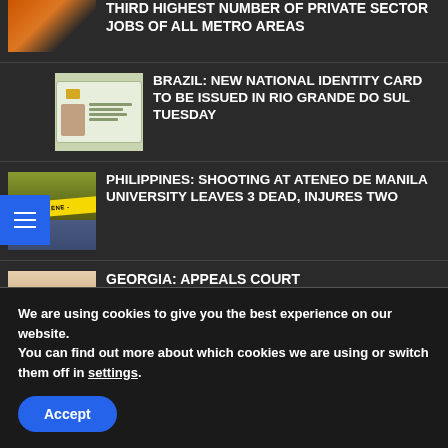THIRD HIGHEST NUMBER OF PRIVATE SECTOR JOBS OF ALL METRO AREAS
[Figure (photo): Orange/brown graphic for jobs article]
BRAZIL: NEW NATIONAL IDENTITY CARD TO BE ISSUED IN RIO GRANDE DO SUL TUESDAY
[Figure (photo): Brazilian national identity card]
PHILIPPINES: SHOOTING AT ATENEO DE MANILA UNIVERSITY LEAVES 3 DEAD, INJURES TWO
[Figure (photo): Crime scene tape]
GEORGIA: APPEALS COURT
[Figure (photo): Georgia article thumbnail]
We are using cookies to give you the best experience on our website.
You can find out more about which cookies we are using or switch them off in settings.
Accept